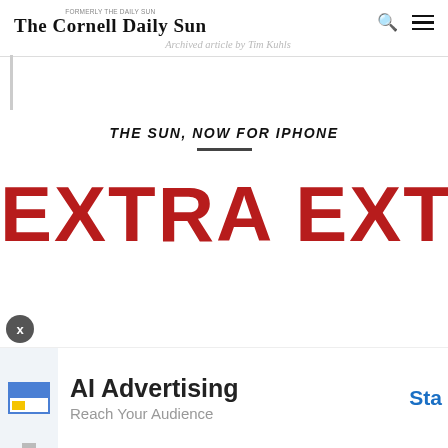The Cornell Daily Sun
Archived article by Tim Kuhls
THE SUN, NOW FOR IPHONE
[Figure (other): Large red bold text reading 'EXTRA EXTRA' as a news/promotional banner]
[Figure (other): Advertisement bar: AI Advertising — Reach Your Audience — Sta...]